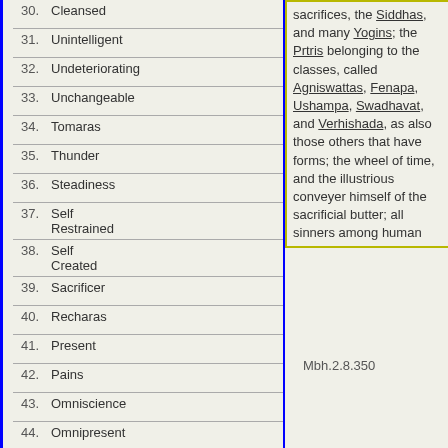30. Cleansed
31. Unintelligent
32. Undeteriorating
33. Unchangeable
34. Tomaras
35. Thunder
36. Steadiness
37. Self Restrained
38. Self Created
39. Sacrificer
40. Recharas
41. Present
42. Pains
43. Omniscience
44. Omnipresent
45. Omnipotent
46. Misery
47. Meditation
48. Master
49. Lelihana
sacrifices, the Siddhas, and many Yogins; the Prtris belonging to the classes, called Agniswattas, Fenapa, Ushampa, Swadhavat, and Verhishada, as also those others that have forms; the wheel of time, and the illustrious conveyer himself of the sacrificial butter; all sinners among human
Mbh.2.8.350